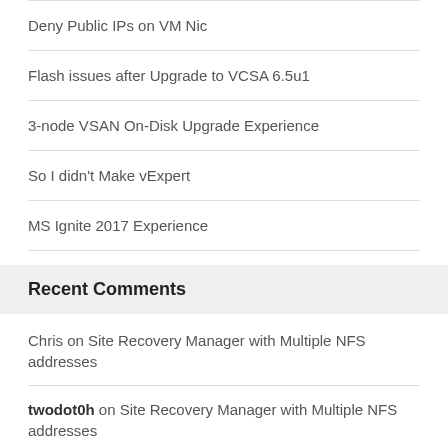Deny Public IPs on VM Nic
Flash issues after Upgrade to VCSA 6.5u1
3-node VSAN On-Disk Upgrade Experience
So I didn't Make vExpert
MS Ignite 2017 Experience
Recent Comments
Chris on Site Recovery Manager with Multiple NFS addresses
twodot0h on Site Recovery Manager with Multiple NFS addresses
Chris on License error: 5 when adding vSphere 6 license to vCenter 5.x
Matt on License error: 5 when adding vSphere 6 license to vCenter 5.x
Carlos Chacon on The Safest Way to Convert to LACP